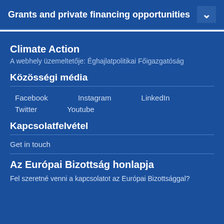Grants and private financing opportunities
Climate Action
A webhely üzemeltetője: Éghajlatpolitikai Főigazgatóság
Közösségi média
Facebook
Instagram
LinkedIn
Twitter
Youtube
Kapcsolatfelvétel
Get in touch
Az Európai Bizottság honlapja
Fel szeretné venni a kapcsolatot az Európai Bizottsággal?